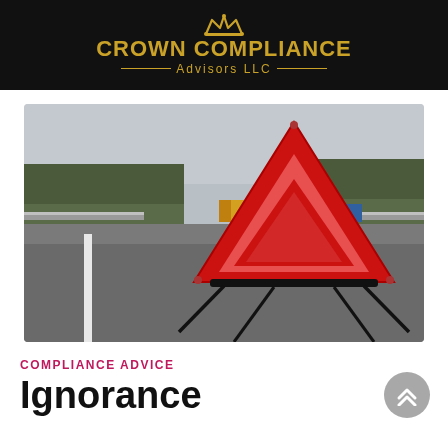CROWN COMPLIANCE Advisors LLC
[Figure (photo): A red warning triangle road safety sign standing on a highway road, with trees and trucks visible in the background. Grey sky overhead.]
COMPLIANCE ADVICE
Ignorance